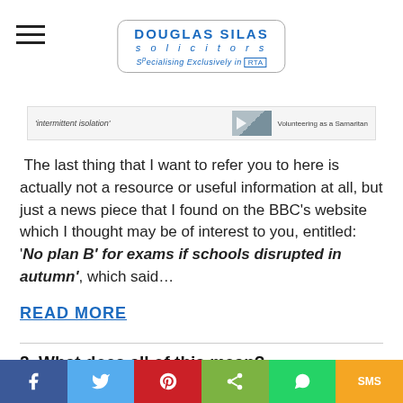DOUGLAS SILAS solicitors - Specialising Exclusively in RTA
[Figure (screenshot): Screenshot strip showing 'intermittent isolation' label on left and 'Volunteering as a Samaritan' video thumbnail on right]
The last thing that I want to refer you to here is actually not a resource or useful information at all, but just a news piece that I found on the BBC's website which I thought may be of interest to you, entitled: '‘No plan B’ for exams if schools disrupted in autumn’, which said…
READ MORE
2. What does all of this mean?